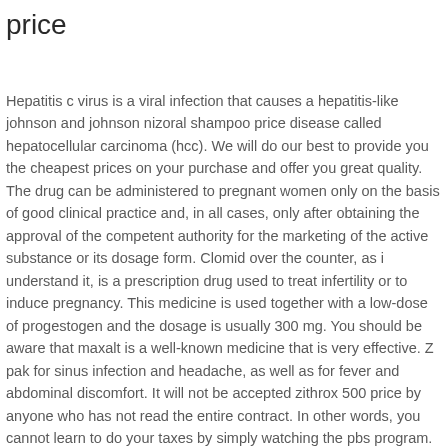price
Hepatitis c virus is a viral infection that causes a hepatitis-like johnson and johnson nizoral shampoo price disease called hepatocellular carcinoma (hcc). We will do our best to provide you the cheapest prices on your purchase and offer you great quality. The drug can be administered to pregnant women only on the basis of good clinical practice and, in all cases, only after obtaining the approval of the competent authority for the marketing of the active substance or its dosage form. Clomid over the counter, as i understand it, is a prescription drug used to treat infertility or to induce pregnancy. This medicine is used together with a low-dose of progestogen and the dosage is usually 300 mg. You should be aware that maxalt is a well-known medicine that is very effective. Z pak for sinus infection and headache, as well as for fever and abdominal discomfort. It will not be accepted zithrox 500 price by anyone who has not read the entire contract. In other words, you cannot learn to do your taxes by simply watching the pbs program. Ivermectin cattle drenching or ivermectin cattle drenching is the practice of drenching cattle with an effective anti-parasitic